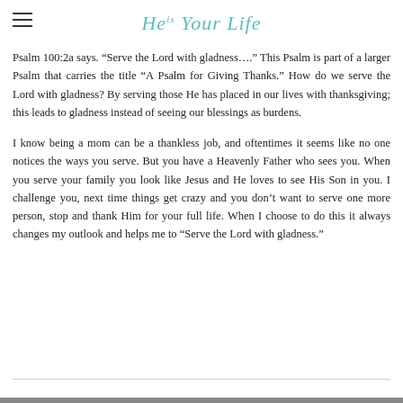He is Your Life
Psalm 100:2a says. “Serve the Lord with gladness….” This Psalm is part of a larger Psalm that carries the title “A Psalm for Giving Thanks.” How do we serve the Lord with gladness? By serving those He has placed in our lives with thanksgiving; this leads to gladness instead of seeing our blessings as burdens.
I know being a mom can be a thankless job, and oftentimes it seems like no one notices the ways you serve. But you have a Heavenly Father who sees you. When you serve your family you look like Jesus and He loves to see His Son in you. I challenge you, next time things get crazy and you don’t want to serve one more person, stop and thank Him for your full life. When I choose to do this it always changes my outlook and helps me to “Serve the Lord with gladness.”